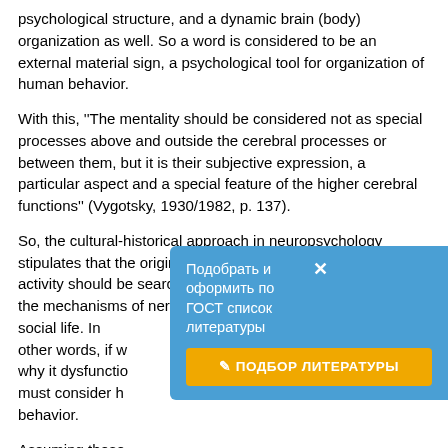psychological structure, and a dynamic brain (body) organization as well. So a word is considered to be an external material sign, a psychological tool for organization of human behavior.
With this, ''The mentality should be considered not as special processes above and outside the cerebral processes or between them, but it is their subjective expression, a particular aspect and a special feature of the higher cerebral functions'' (Vygotsky, 1930/1982, p. 137).
So, the cultural-historical approach in neuropsychology stipulates that the origins of human conscience and mental activity should be searched for neither inside the brain, nor in the mechanisms of nervous processes but in the human social life. In other words, if w... why it dysfunctio... must consider h... behavior.
Assuming these ... the problems of remediation for learning disabled
[Figure (other): Advertisement popup overlay in Russian: 'Подобрать и оформить по ГОСТ список литературы' with a button 'ПОДБОР ЛИТЕРАТУРЫ' and a close (X) button. Blue background with yellow button.]